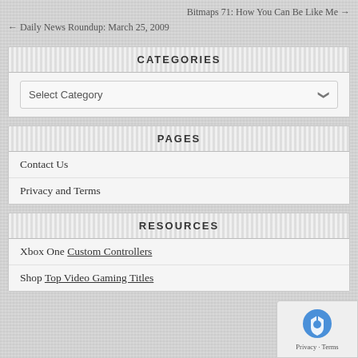Bitmaps 71: How You Can Be Like Me → ← Daily News Roundup: March 25, 2009
CATEGORIES
Select Category
PAGES
Contact Us
Privacy and Terms
RESOURCES
Xbox One Custom Controllers
Shop Top Video Gaming Titles